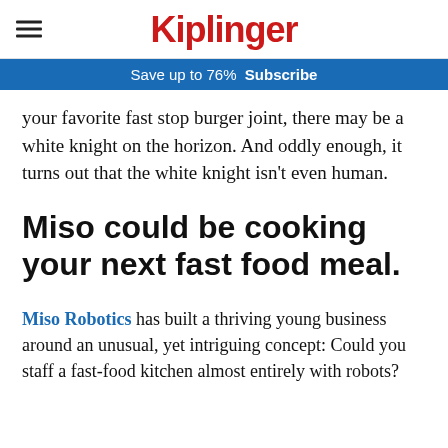Kiplinger
Save up to 76%  Subscribe
your favorite fast stop burger joint, there may be a white knight on the horizon. And oddly enough, it turns out that the white knight isn't even human.
Miso could be cooking your next fast food meal.
Miso Robotics has built a thriving young business around an unusual, yet intriguing concept: Could you staff a fast-food kitchen almost entirely with robots?